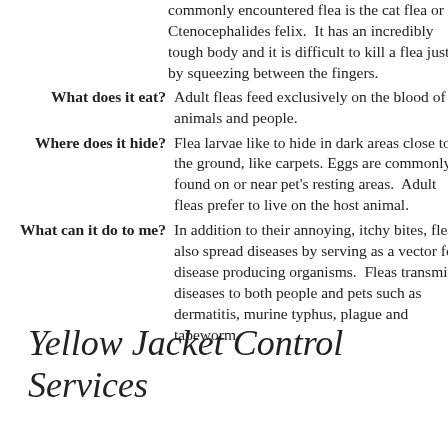commonly encountered flea is the cat flea or Ctenocephalides felix.  It has an incredibly tough body and it is difficult to kill a flea just by squeezing between the fingers.
What does it eat?  Adult fleas feed exclusively on the blood of animals and people.
Where does it hide?  Flea larvae like to hide in dark areas close to the ground, like carpets.  Eggs are commonly found on or near pet's resting areas.  Adult fleas prefer to live on the host animal.
What can it do to me?  In addition to their annoying, itchy bites, fleas also spread diseases by serving as a vector for disease producing organisms.  Fleas transmit diseases to both people and pets such as dermatitis, murine typhus, plague and tapeworm.
Yellow Jacket Control
Services